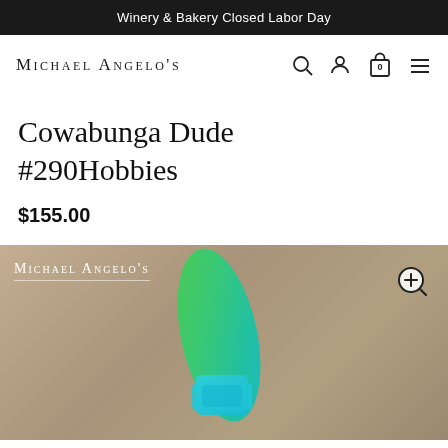Winery & Bakery Closed Labor Day
Michael Angelo's
Cowabunga Dude #290Hobbies
$155.00
[Figure (photo): Photo of a colorful sculptural artwork — a surfboard-like form in green and teal/turquoise with glittery texture, on a warm beige/tan background. Michael Angelo's logo watermark visible in upper left. Zoom icon in upper right.]